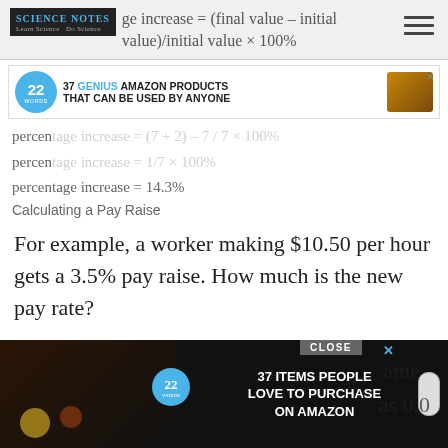Science Notes — Learn Science Do Science
percentage increase = 14.3%
Calculating a Pay Raise
For example, a worker making $10.50 per hour gets a 3.5% pay raise. How much is the new pay rate?
The new pay rate is the original pay plus the raise. To solve this, remember how percentage are written as the same as 0.0…
new pa… y rate? Y…